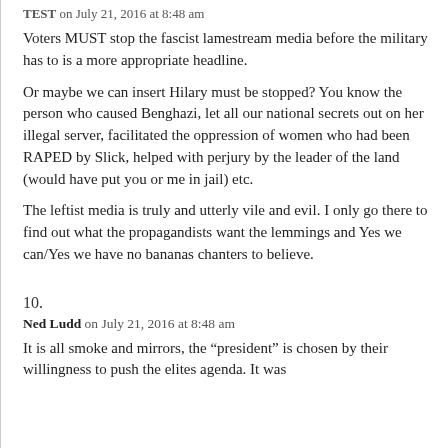TEST on July 21, 2016 at 8:48 am
Voters MUST stop the fascist lamestream media before the military has to is a more appropriate headline.
Or maybe we can insert Hilary must be stopped? You know the person who caused Benghazi, let all our national secrets out on her illegal server, facilitated the oppression of women who had been RAPED by Slick, helped with perjury by the leader of the land (would have put you or me in jail) etc.
The leftist media is truly and utterly vile and evil. I only go there to find out what the propagandists want the lemmings and Yes we can/Yes we have no bananas chanters to believe.
10.
Ned Ludd on July 21, 2016 at 8:48 am
It is all smoke and mirrors, the “president” is chosen by their willingness to push the elites agenda. It was